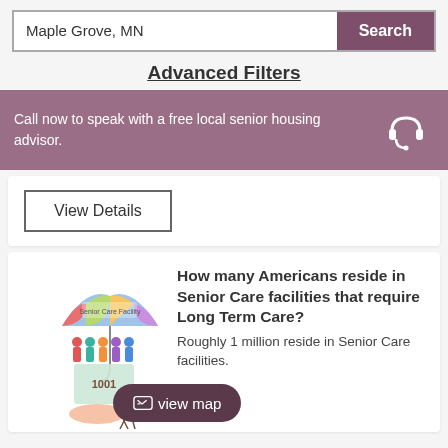Maple Grove, MN
Search
Advanced Filters
Call now to speak with a free local senior housing advisor.
View Details
[Figure (illustration): Colorful illustration of senior care figures under an umbrella labeled 'Senior Care Facility', with a hand holding a baby and a figure of an elderly person with a cane, plus a small map graphic with '1001' overlay.]
How many Americans reside in Senior Care facilities that require Long Term Care?
Roughly 1 million reside in Senior Care facilities.
view map